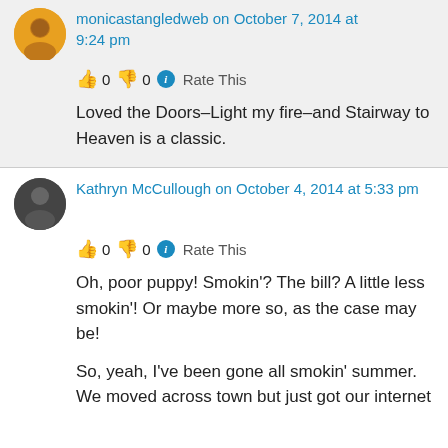monicastangledweb on October 7, 2014 at 9:24 pm
👍 0 👎 0 ℹ Rate This
Loved the Doors–Light my fire–and Stairway to Heaven is a classic.
Kathryn McCullough on October 4, 2014 at 5:33 pm
👍 0 👎 0 ℹ Rate This
Oh, poor puppy! Smokin'? The bill? A little less smokin'! Or maybe more so, as the case may be!
So, yeah, I've been gone all smokin' summer. We moved across town but just got our internet